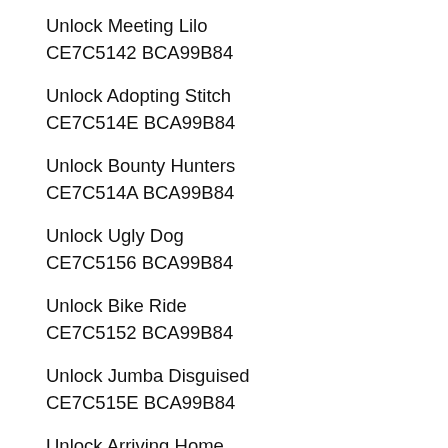Unlock Meeting Lilo
CE7C5142 BCA99B84
Unlock Adopting Stitch
CE7C514E BCA99B84
Unlock Bounty Hunters
CE7C514A BCA99B84
Unlock Ugly Dog
CE7C5156 BCA99B84
Unlock Bike Ride
CE7C5152 BCA99B84
Unlock Jumba Disguised
CE7C515E BCA99B84
Unlock Arriving Home
CE7C515A BCA99B84
Unlock Evil Koala